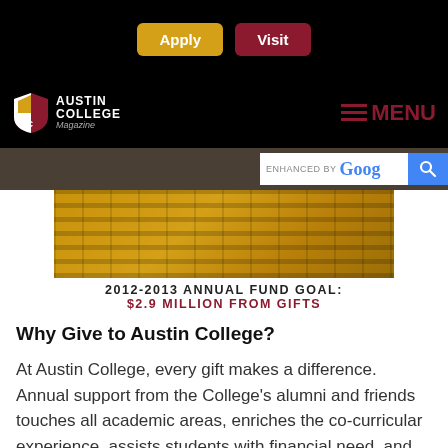Apply | Visit
AUSTIN COLLEGE Magazine — MENU
[Figure (screenshot): Austin College building exterior rendered in gold/sepia tones with grid-like window pattern]
2012-2013 ANNUAL FUND GOAL: $2.9 MILLION FROM GIFTS
Why Give to Austin College?
At Austin College, every gift makes a difference. Annual support from the College's alumni and friends touches all academic areas, enriches the co-curricular experience, assists students with financial need, and provides